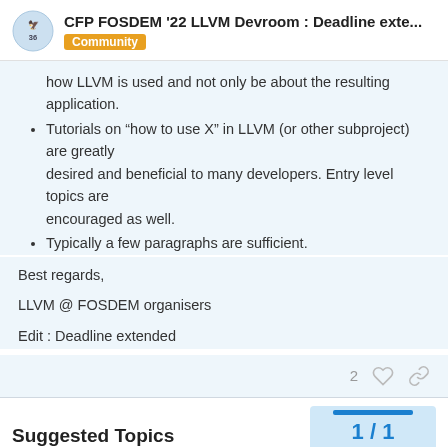CFP FOSDEM '22 LLVM Devroom : Deadline exte... Community
how LLVM is used and not only be about the resulting application.
Tutorials on “how to use X” in LLVM (or other subproject) are greatly desired and beneficial to many developers. Entry level topics are encouraged as well.
Typically a few paragraphs are sufficient.
Best regards,
LLVM @ FOSDEM organisers
Edit : Deadline extended
Suggested Topics
1 / 1